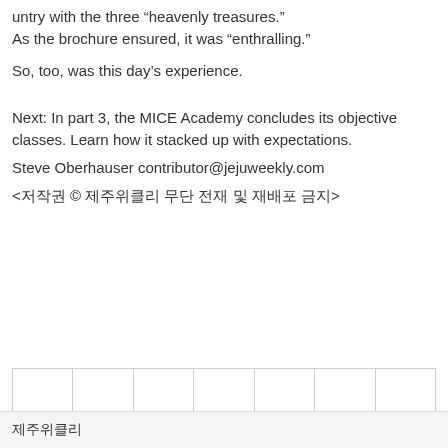untry with the three “heavenly treasures.” As the brochure ensured, it was “enthralling.”
So, too, was this day’s experience.
Next: In part 3, the MICE Academy concludes its objective classes. Learn how it stacked up with expectations.
Steve Oberhauser contributor@jejuweekly.com
<저작권 © 제주위클리 무단 전재 및 재배포 금지>
|  |  |  |  |  |  |  |
제주위클리